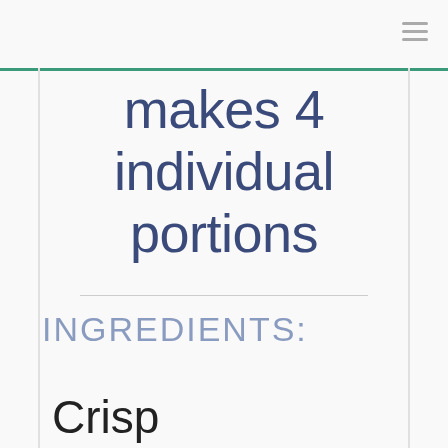makes 4 individual portions
INGREDIENTS:
Crisp T...